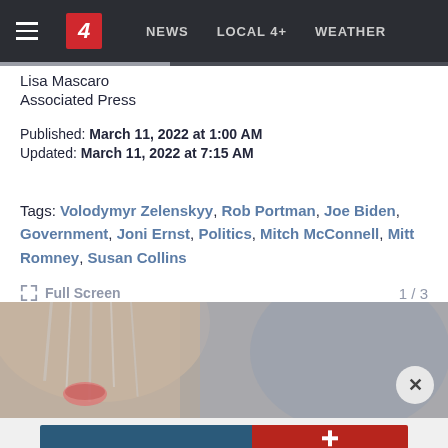NEWS  LOCAL 4+  WEATHER
Lisa Mascaro
Associated Press
Published: March 11, 2022 at 1:00 AM
Updated: March 11, 2022 at 7:15 AM
Tags: Volodymyr Zelenskyy, Rob Portman, Joe Biden, Government, Joni Ernst, Politics, Mitch McConnell, Mitt Romney, Susan Collins
Full Screen  1 / 3
[Figure (photo): Close-up photo of a woman with grey hair speaking, partial face visible]
[Figure (photo): Concordia University advertisement banner with text 'Live UNCOMMON']